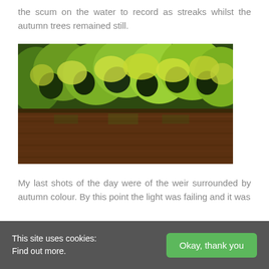the scum on the water to record as streaks whilst the autumn trees remained still.
[Figure (photo): Photograph of autumn trees with yellow-green foliage reflected over a still brown river or canal. Dense tree canopy above with brown water below.]
My last shots of the day were of the weir surrounded by autumn colour. By this point the light was failing and it was
This site uses cookies:
Find out more.